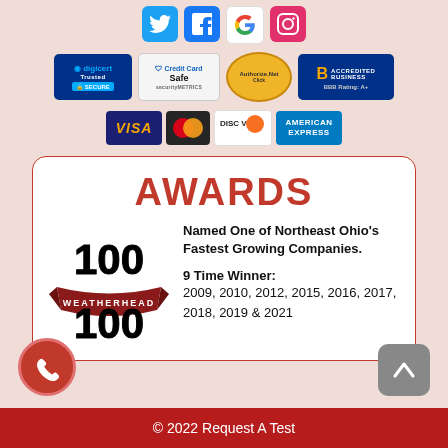[Figure (logo): Social media icons: Twitter, Facebook, Google, Instagram]
[Figure (logo): Trust badges: DigiCert Trusted Secure, SecurityMetrics Credit Card Safe, Authorize.Net, BBB Accredited Business Rating A+]
[Figure (logo): Payment method badges: Visa, MasterCard, Discover, American Express]
AWARDS
[Figure (logo): Weatherhead 100 logo]
Named One of Northeast Ohio's Fastest Growing Companies.
9 Time Winner:
2009, 2010, 2012, 2015, 2016, 2017, 2018, 2019 & 2021
© 2022 Request A Test